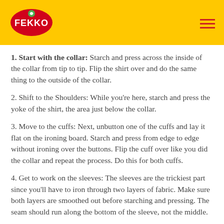FEKKO logo and navigation
1. Start with the collar: Starch and press across the inside of the collar from tip to tip. Flip the shirt over and do the same thing to the outside of the collar.
2. Shift to the Shoulders: While you're here, starch and press the yoke of the shirt, the area just below the collar.
3. Move to the cuffs: Next, unbutton one of the cuffs and lay it flat on the ironing board. Starch and press from edge to edge without ironing over the buttons. Flip the cuff over like you did the collar and repeat the process. Do this for both cuffs.
4. Get to work on the sleeves: The sleeves are the trickiest part since you'll have to iron through two layers of fabric. Make sure both layers are smoothed out before starching and pressing. The seam should run along the bottom of the sleeve, not the middle.
Want a traditional creased sleeve? Press the top edge of